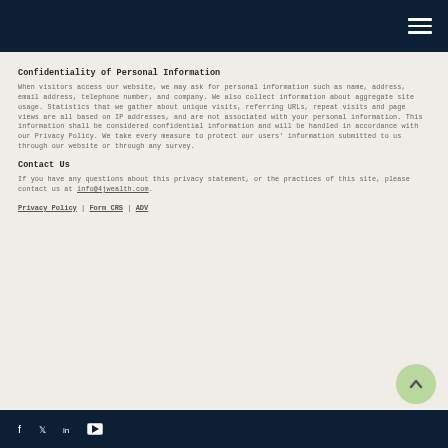Navigation header with hamburger menu
Confidentiality of Personal Information
When visitors access our website, we may ask for personal information such as name, address, email address, telephone number, and company. We also collect information about aggregate site usage. Statistics that we gather about unique visits, referring URLs, repeat visits and page views are all based on IP addresses, and are not associated with your personal information. This information shall be considered confidential information and will be handled in accordance with our Privacy Policy. We take every measure to protect our users' information submitted to us through our website or through any survey.
Contact Us
If you have any questions about this privacy statement, or the practices of this site, please contact us at info@4jwealth.com.
Privacy Policy | Form CRS | ADV
Social media icons: Facebook, Twitter, LinkedIn, YouTube